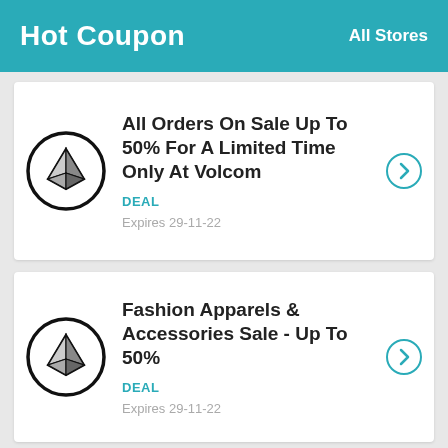Hot Coupon   All Stores
All Orders On Sale Up To 50% For A Limited Time Only At Volcom
DEAL
Expires 29-11-22
Fashion Apparels & Accessories Sale - Up To 50%
DEAL
Expires 29-11-22